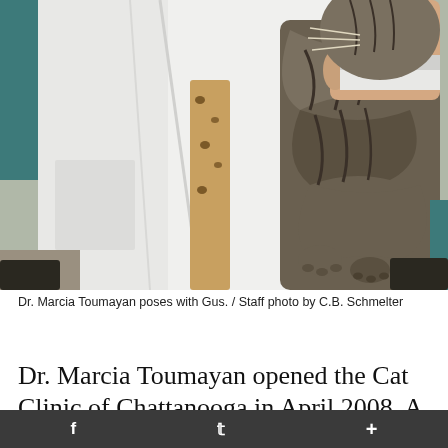[Figure (photo): A person in a white lab coat holds a large tabby cat up close, gripping it firmly with both hands. The cat's striped fur and extended paws are visible. The background shows a teal and beige indoor setting.]
Dr. Marcia Toumayan poses with Gus. / Staff photo by C.B. Schmelter
Dr. Marcia Toumayan opened the Cat Clinic of Chattanooga in April 2008. A Scenic City
f  🐦  +